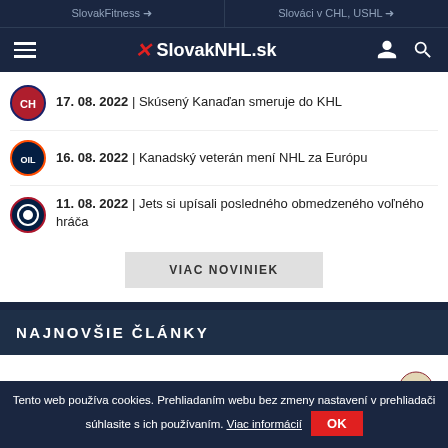SlovakFitness → | Slováci v CHL, USHL →
SlovakNHL.sk
17. 08. 2022 | Skúsený Kanaďan smeruje do KHL
16. 08. 2022 | Kanadský veterán mení NHL za Európu
11. 08. 2022 | Jets si upísali posledného obmedzeného voľného hráča
VIAC NOVINIEK
NAJNOVŠIE ČLÁNKY
Slovenský útočník absolvuje skúšku u Coyotes
Tento web používa cookies. Prehliadaním webu bez zmeny nastavení v prehliadači súhlasite s ich používaním. Viac informácií OK